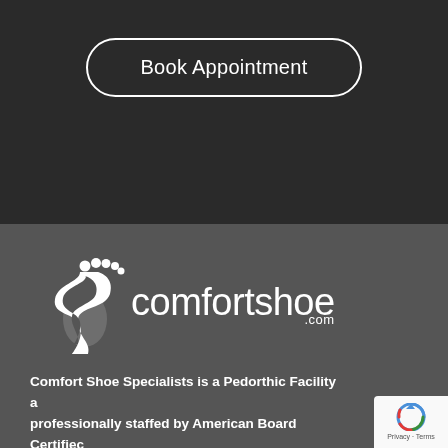Book Appointment
[Figure (logo): comfortshoe.com logo with foot/S-curve icon in white on dark gray background]
Comfort Shoe Specialists is a Pedorthic Facility a professionally staffed by American Board Certifiec Pedorthists, BOC International Pedorthists and Shoe